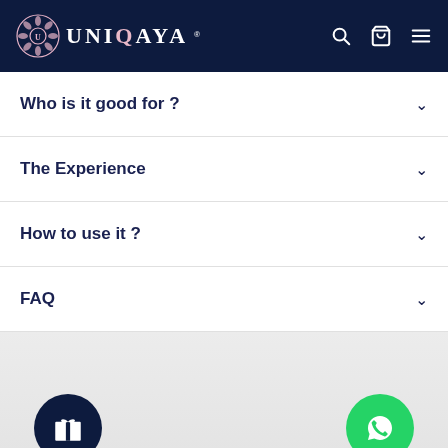UNIQAYA
Who is it good for ?
The Experience
How to use it ?
FAQ
[Figure (other): Dark navy circular gift icon button in bottom left, green WhatsApp icon button in bottom right]